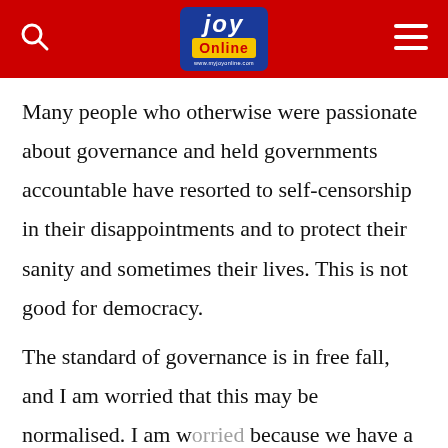JOY Online
Many people who otherwise were passionate about governance and held governments accountable have resorted to self-censorship in their disappointments and to protect their sanity and sometimes their lives. This is not good for democracy.
The standard of governance is in free fall, and I am worried that this may be normalised. I am w[orried] because we have a history of new governments comparing themselves to previous [governments]